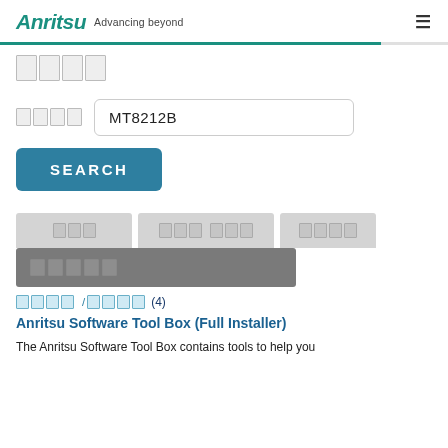Anritsu Advancing beyond
ソフトウェア
型名/品名 MT8212B
SEARCH
製品名 発売日/更新日/他 ソフトウエア
ソフトウェア/マニュアル
ソフトウェア/マニュアル (4)
Anritsu Software Tool Box (Full Installer)
The Anritsu Software Tool Box contains tools to help you